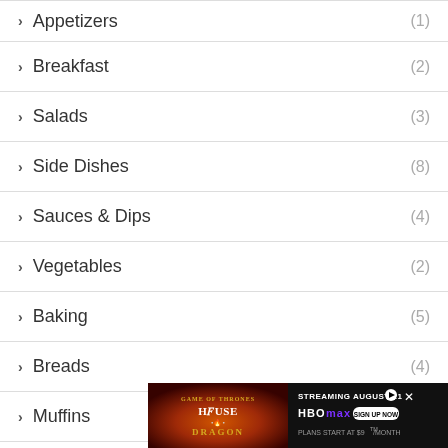Appetizers (1)
Breakfast (2)
Salads (3)
Side Dishes (8)
Sauces & Dips (4)
Vegetables (2)
Baking (5)
Breads (4)
Muffins (1)
Kids... (3)
[Figure (screenshot): Advertisement banner for House of the Dragon on HBO Max, streaming August 21, plans start at $9/month]